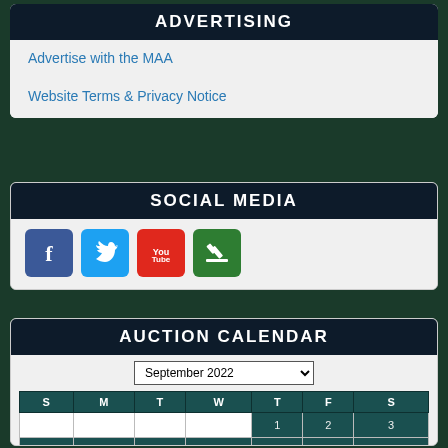ADVERTISING
Advertise with the MAA
Website Terms & Privacy Notice
SOCIAL MEDIA
[Figure (infographic): Social media icons: Facebook, Twitter, YouTube, Gavel/Auction]
AUCTION CALENDAR
| S | M | T | W | T | F | S |
| --- | --- | --- | --- | --- | --- | --- |
|  |  |  |  | 1 | 2 | 3 |
| 4 | 5 | 6 | 7 | 8 | 9 | 10 |